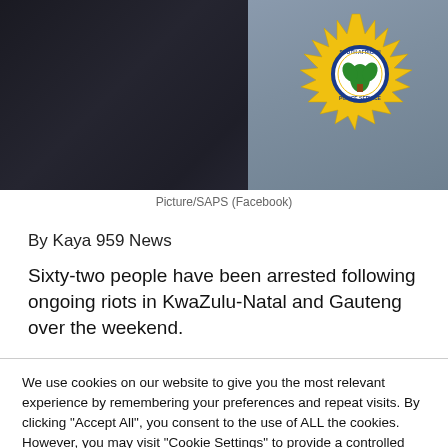[Figure (photo): Close-up of a dark navy police uniform with a South African Police Service (SAPS) badge/emblem visible on the right shoulder area. The badge is gold/yellow star-shaped with a circular emblem in the center.]
Picture/SAPS (Facebook)
By Kaya 959 News
Sixty-two people have been arrested following ongoing riots in KwaZulu-Natal and Gauteng over the weekend.
We use cookies on our website to give you the most relevant experience by remembering your preferences and repeat visits. By clicking "Accept All", you consent to the use of ALL the cookies. However, you may visit "Cookie Settings" to provide a controlled consent.